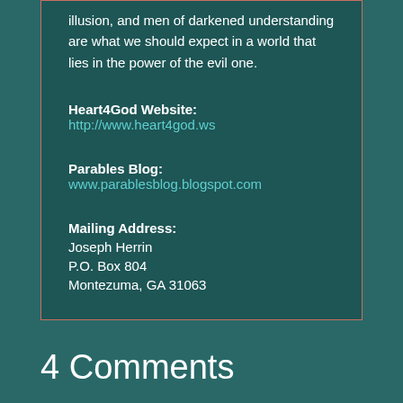illusion, and men of darkened understanding are what we should expect in a world that lies in the power of the evil one.
Heart4God Website: http://www.heart4god.ws
Parables Blog: www.parablesblog.blogspot.com
Mailing Address:
Joseph Herrin
P.O. Box 804
Montezuma, GA 31063
4 Comments